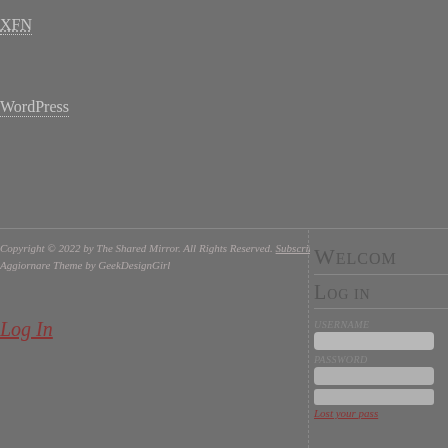XFN
WordPress
Copyright © 2022 by The Shared Mirror. All Rights Reserved. Subscribe to The Aggiornare Theme by GeekDesignGirl
Log In
Welcome
Log In
Username
Password
Lost your pass